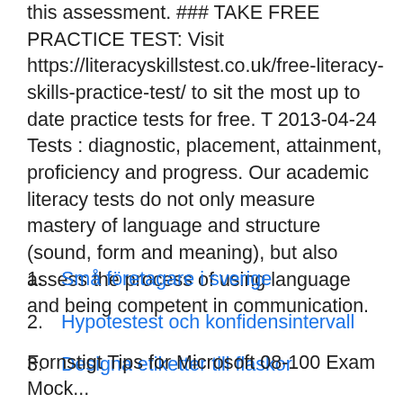this assessment. ### TAKE FREE PRACTICE TEST: Visit https://literacyskillstest.co.uk/free-literacy-skills-practice-test/ to sit the most up to date practice tests for free. T 2013-04-24 Tests : diagnostic, placement, attainment, proficiency and progress. Our academic literacy tests do not only measure mastery of language and structure (sound, form and meaning), but also assess the process of using language and being competent in communication.
Små företagare i sverige
Hypotestest och konfidensintervall
Designa etiketter till flaskor
Fornstigt Tips for Microsoft 08-100 Exam Mock...